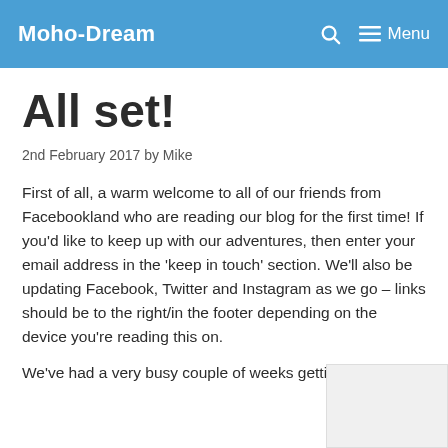Moho-Dream   🔍   ☰ Menu
All set!
2nd February 2017 by Mike
First of all, a warm welcome to all of our friends from Facebookland who are reading our blog for the first time! If you'd like to keep up with our adventures, then enter your email address in the 'keep in touch' section. We'll also be updating Facebook, Twitter and Instagram as we go – links should be to the right/in the footer depending on the device you're reading this on.
We've had a very busy couple of weeks getting